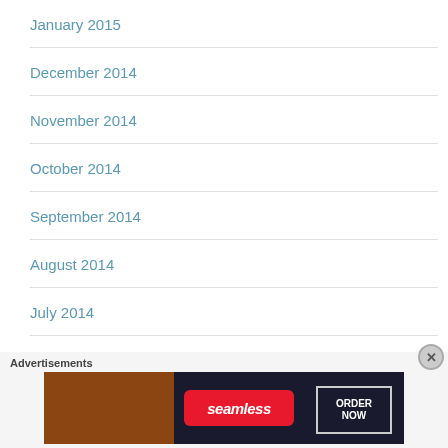January 2015
December 2014
November 2014
October 2014
September 2014
August 2014
July 2014
Advertisements
[Figure (other): Seamless food delivery advertisement banner with pizza image on left, Seamless logo in red, and ORDER NOW button on right]